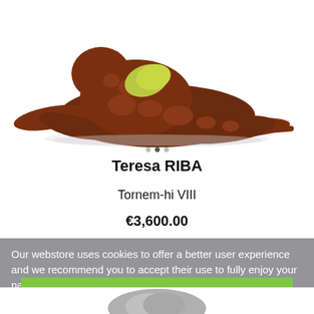[Figure (photo): Photograph of a ceramic or clay sculpture of a reclining human figure with dark reddish-brown color and light green/yellow accent on the back, placed on a white surface.]
Teresa RIBA
Tornem-hi VIII
€3,600.00
Our webstore uses cookies to offer a better user experience and we recommend you to accept their use to fully enjoy your navigation.  More information  customize cookies
I ACCEPT
[Figure (photo): Partial view of another sculpture at the bottom of the page, partially obscured by the cookie banner.]